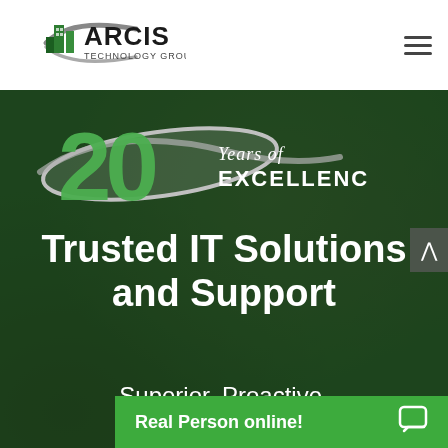[Figure (logo): ARCIS Technology Group, Inc. logo with green building graphic and gray swoosh]
[Figure (photo): Dark green tinted photo of smiling team members in dark polo shirts]
[Figure (illustration): 20 Years of Excellence badge with large green '20' and silver swoosh, text 'Years of EXCELLENCE']
Trusted IT Solutions and Support
Superior, Proactive, Responsive
Real Person online!